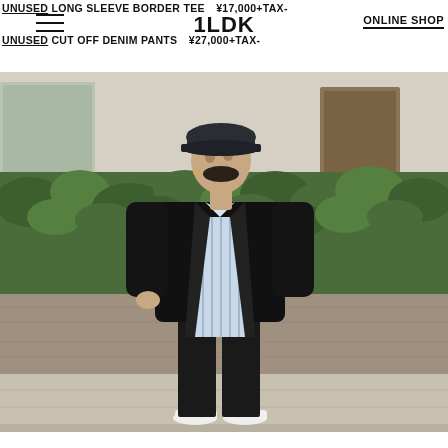UNUSED LONG SLEEVE BORDER TEE ¥17,000+TAX-
1LDK
ONLINE SHOP
UNUSED CUT OFF DENIM PANTS ¥27,000+TAX-
[Figure (photo): Fashion lookbook photo of a person standing on a sidewalk in front of a concrete wall with green ivy. The model wears a black oversized jacket over a light blue and white striped long shirt, black trousers, and white sneakers, topped with a dark cap. Outdoor urban setting.]